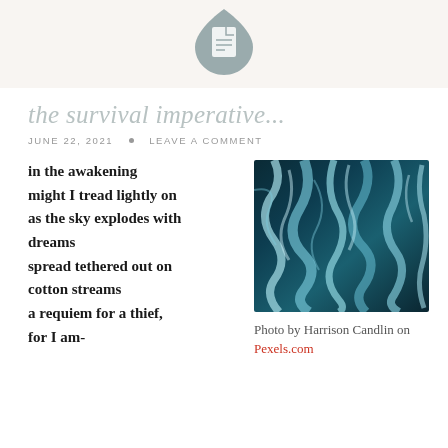[Figure (logo): Gray teardrop/page icon logo in header bar]
the survival imperative...
JUNE 22, 2021 • LEAVE A COMMENT
in the awakening
might I tread lightly on
as the sky explodes with dreams
spread tethered out on cotton streams
a requiem for a thief, for I am-
[Figure (photo): Aerial photograph of turquoise glacial river streams, by Harrison Candlin]
Photo by Harrison Candlin on Pexels.com